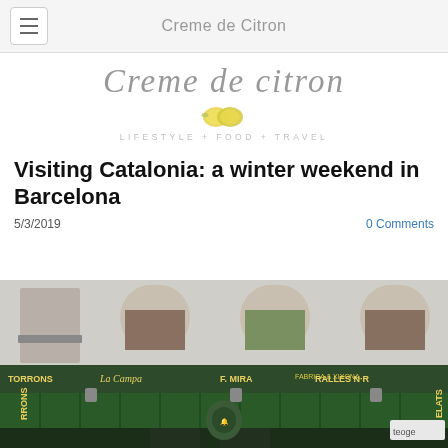Creme de Citron
[Figure (logo): Creme de citron handwritten script logo with lemon graphic and tagline LIFESTYLE + FOOD + TRAVEL]
Visiting Catalonia: a winter weekend in Barcelona
5/3/2019
0 Comments
[Figure (photo): Street-level photo of a Barcelona shop front for Torrons La Campana / F. Mira, with green awnings and ornate facade]